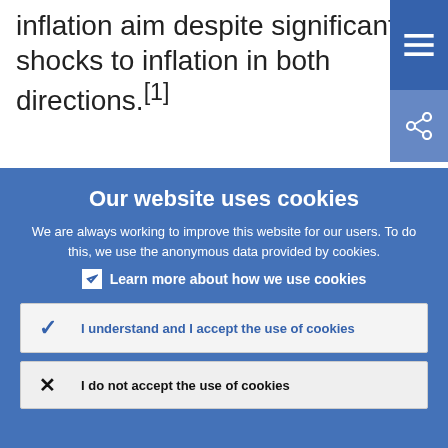inflation aim despite significant shocks to inflation in both directions.[1]
However, persistently low inflation since the
Our website uses cookies
We are always working to improve this website for our users. To do this, we use the anonymous data provided by cookies.
Learn more about how we use cookies
I understand and I accept the use of cookies
I do not accept the use of cookies